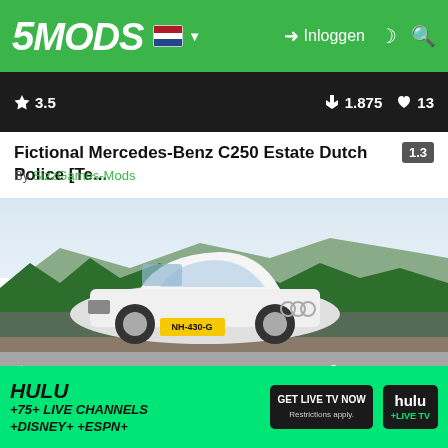5MODS — Inloggen navigation bar with Dutch flag, moon and search icons
[Figure (screenshot): Dark bottom strip of a car mod preview image showing rating 3.5 stars, 1.875 downloads, 13 likes]
Fictional Mercedes-Benz C250 Estate Dutch Police [Te...
By SizzGames-Mods
[Figure (screenshot): White Audi A6 Avant 2017 in a GTA V game scene with Dutch license plate NH-430-G, rated 4.86 stars, 3.991 downloads, 37 likes]
[Add-On / Replace] Audi A6 Avant 2017
By SizzGames-Mods
[Figure (screenshot): Hulu advertisement banner: HULU +75+ LIVE CHANNELS +DISNEY+ +ESPN+ GET LIVE TV NOW, Restrictions apply. hulu +LIVE TV]